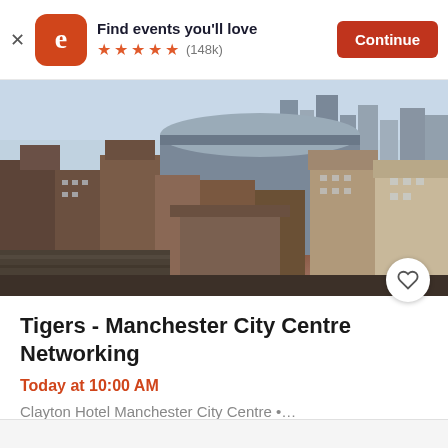Find events you'll love ★★★★★ (148k) Continue
[Figure (photo): Aerial cityscape photo of Manchester city centre showing buildings, rooftops and skyline]
Tigers - Manchester City Centre Networking
Today at 10:00 AM
Clayton Hotel Manchester City Centre •…
£15